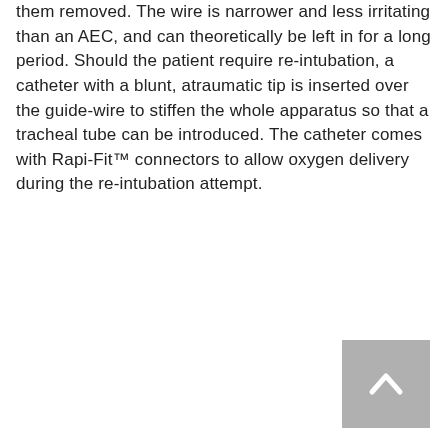them removed. The wire is narrower and less irritating than an AEC, and can theoretically be left in for a long period. Should the patient require re-intubation, a catheter with a blunt, atraumatic tip is inserted over the guide-wire to stiffen the whole apparatus so that a tracheal tube can be introduced. The catheter comes with Rapi-Fit™ connectors to allow oxygen delivery during the re-intubation attempt.